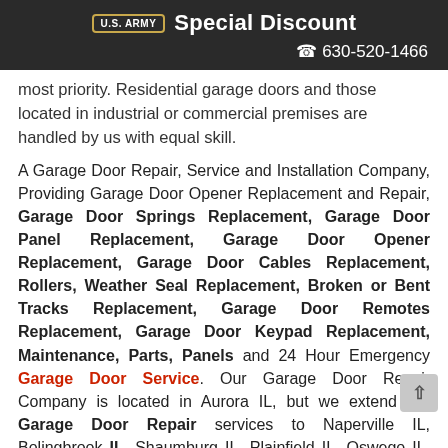U.S. ARMY Special Discount
630-520-1466
most priority. Residential garage doors and those located in industrial or commercial premises are handled by us with equal skill.
A Garage Door Repair, Service and Installation Company, Providing Garage Door Opener Replacement and Repair, Garage Door Springs Replacement, Garage Door Panel Replacement, Garage Door Opener Replacement, Garage Door Cables Replacement, Rollers, Weather Seal Replacement, Broken or Bent Tracks Replacement, Garage Door Remotes Replacement, Garage Door Keypad Replacement, Maintenance, Parts, Panels and 24 Hour Emergency Garage Door Service. Our Garage Door Repair Company is located in Aurora IL, but we extend our Garage Door Repair services to Naperville IL, Bolingbrook IL, Shaumburg IL, Plainfield IL, Oswego IL, Batavia IL, Wheaton IL, Downers Grove IL, Joliet IL, Lombard IL, Oak Brook IL, Hinsdale IL, Elmhurst IL, Elgin IL, and many more cities...